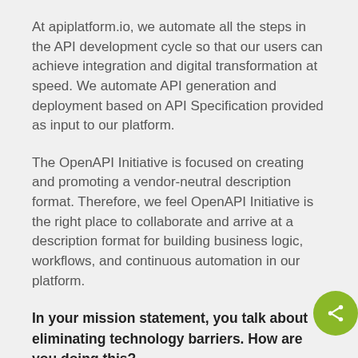At apiplatform.io, we automate all the steps in the API development cycle so that our users can achieve integration and digital transformation at speed. We automate API generation and deployment based on API Specification provided as input to our platform.
The OpenAPI Initiative is focused on creating and promoting a vendor-neutral description format. Therefore, we feel OpenAPI Initiative is the right place to collaborate and arrive at a description format for building business logic, workflows, and continuous automation in our platform.
In your mission statement, you talk about eliminating technology barriers. How are you doing this?